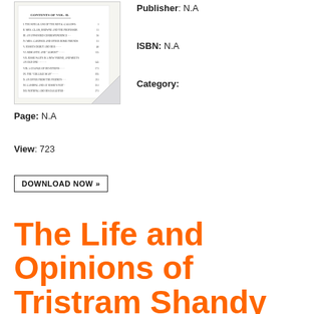[Figure (illustration): Thumbnail image of a book page showing 'Contents of Vol. II' table of contents with chapter listings and page numbers, with a curled page corner effect.]
Publisher: N.A
ISBN: N.A
Category:
Page: N.A
View: 723
DOWNLOAD NOW »
The Life and Opinions of Tristram Shandy